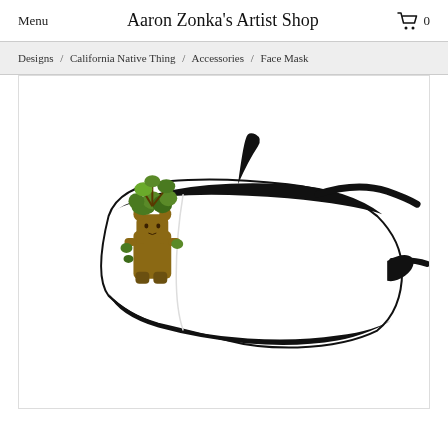Menu   Aaron Zonka's Artist Shop   0
Designs / California Native Thing / Accessories / Face Mask
[Figure (photo): A white face mask with black trim and adjustable straps, featuring an illustrated design of a forest creature or tree figure with foliage on the left side of the mask. The mask is shown at an angle displaying its 3D contoured shape.]